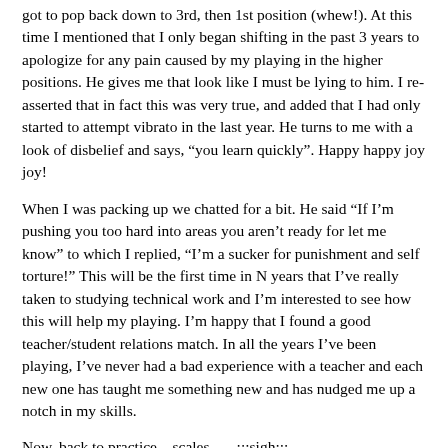got to pop back down to 3rd, then 1st position (whew!). At this time I mentioned that I only began shifting in the past 3 years to apologize for any pain caused by my playing in the higher positions. He gives me that look like I must be lying to him. I re-asserted that in fact this was very true, and added that I had only started to attempt vibrato in the last year. He turns to me with a look of disbelief and says, “you learn quickly”. Happy happy joy joy!
When I was packing up we chatted for a bit. He said “If I’m pushing you too hard into areas you aren’t ready for let me know” to which I replied, “I’m a sucker for punishment and self torture!” This will be the first time in N years that I’ve really taken to studying technical work and I’m interested to see how this will help my playing. I’m happy that I found a good teacher/student relations match. In all the years I’ve been playing, I’ve never had a bad experience with a teacher and each new one has taught me something new and has nudged me up a notch in my skills.
Now, back to practice – scales….. :::sigh:::